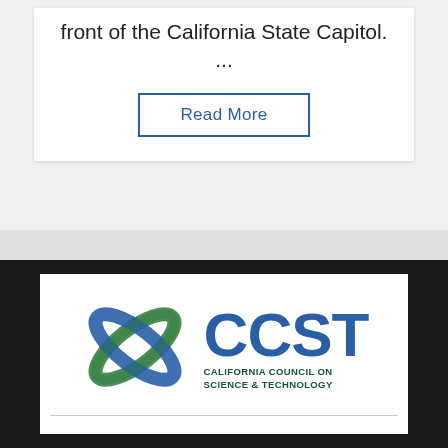front of the California State Capitol. ...
Read More
[Figure (logo): CCST — California Council on Science & Technology logo with stylized blue and green orbital/atom graphic and bold blue CCST letters]